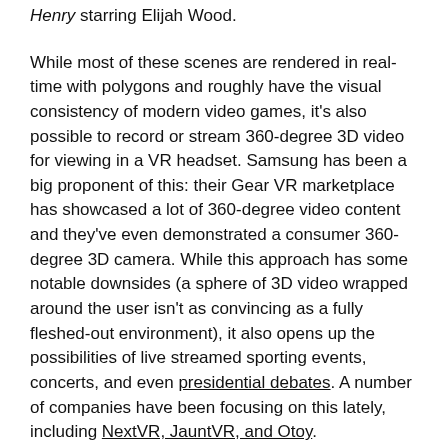Henry starring Elijah Wood.
While most of these scenes are rendered in real-time with polygons and roughly have the visual consistency of modern video games, it's also possible to record or stream 360-degree 3D video for viewing in a VR headset. Samsung has been a big proponent of this: their Gear VR marketplace has showcased a lot of 360-degree video content and they've even demonstrated a consumer 360-degree 3D camera. While this approach has some notable downsides (a sphere of 3D video wrapped around the user isn't as convincing as a fully fleshed-out environment), it also opens up the possibilities of live streamed sporting events, concerts, and even presidential debates. A number of companies have been focusing on this lately, including NextVR, JauntVR, and Otoy.
Content from Other Me...